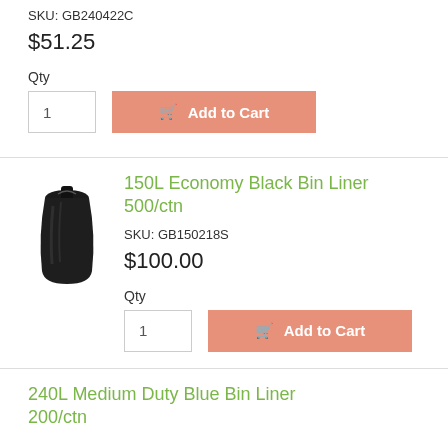SKU: GB240422C
$51.25
Qty
1
Add to Cart
[Figure (photo): Black bin liner bag product photo]
150L Economy Black Bin Liner 500/ctn
SKU: GB150218S
$100.00
Qty
1
Add to Cart
240L Medium Duty Blue Bin Liner 200/ctn